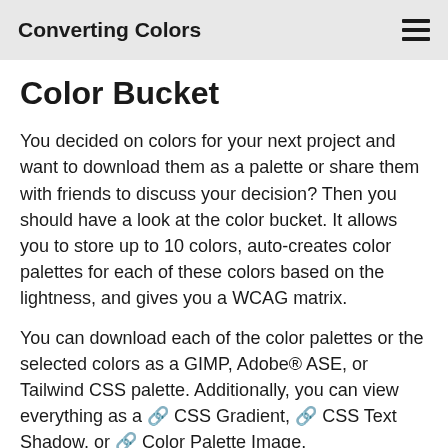Converting Colors
Color Bucket
You decided on colors for your next project and want to download them as a palette or share them with friends to discuss your decision? Then you should have a look at the color bucket. It allows you to store up to 10 colors, auto-creates color palettes for each of these colors based on the lightness, and gives you a WCAG matrix.
You can download each of the color palettes or the selected colors as a GIMP, Adobe® ASE, or Tailwind CSS palette. Additionally, you can view everything as a 🔗 CSS Gradient, 🔗 CSS Text Shadow, or 🔗 Color Palette Image.
To add a color to your color bucket, I put a link "♥ Add this